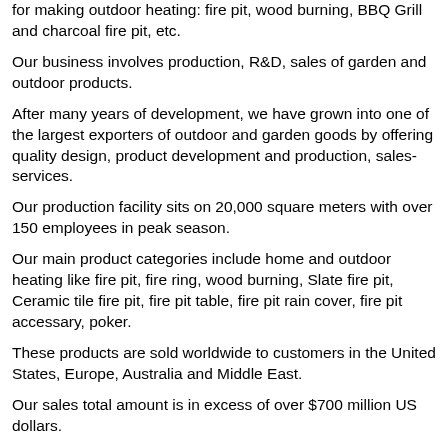for making outdoor heating: fire pit, wood burning, BBQ Grill and charcoal fire pit, etc.
Our business involves production, R&D, sales of garden and outdoor products.
After many years of development, we have grown into one of the largest exporters of outdoor and garden goods by offering quality design, product development and production, sales-services.
Our production facility sits on 20,000 square meters with over 150 employees in peak season.
Our main product categories include home and outdoor heating like fire pit, fire ring, wood burning, Slate fire pit, Ceramic tile fire pit, fire pit table, fire pit rain cover, fire pit accessary, poker.
These products are sold worldwide to customers in the United States, Europe, Australia and Middle East.
Our sales total amount is in excess of over $700 million US dollars.